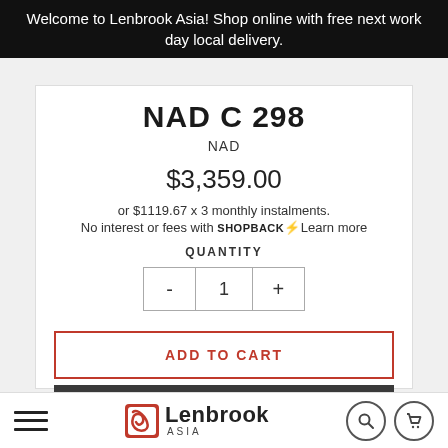Welcome to Lenbrook Asia! Shop online with free next work day local delivery.
NAD C 298
NAD
$3,359.00
or $1119.67 x 3 monthly instalments.
No interest or fees with SHOPBACK⚡Learn more
QUANTITY
- 1 +
ADD TO CART
Lenbrook Asia — navigation bar with hamburger menu, logo, search, and cart icons